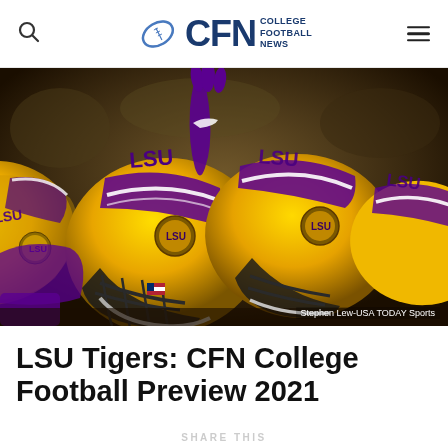CFN College Football News
[Figure (photo): LSU Tigers football helmets in a huddle, gold helmets with LSU markings, purple gloved hand raised making a sign, player in purple jersey visible. Photo credit: Stephen Lew-USA TODAY Sports]
Stephen Lew-USA TODAY Sports
LSU Tigers: CFN College Football Preview 2021
SHARE THIS